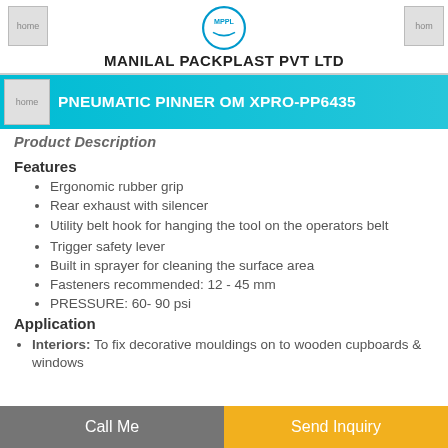MANILAL PACKPLAST PVT LTD
PNEUMATIC PINNER OM XPRO-PP6435
Product Description
Features
Ergonomic rubber grip
Rear exhaust with silencer
Utility belt hook for hanging the tool on the operators belt
Trigger safety lever
Built in sprayer for cleaning the surface area
Fasteners recommended: 12 - 45 mm
PRESSURE: 60- 90 psi
Application
Interiors: To fix decorative mouldings on to wooden cupboards & windows
Call Me | Send Inquiry